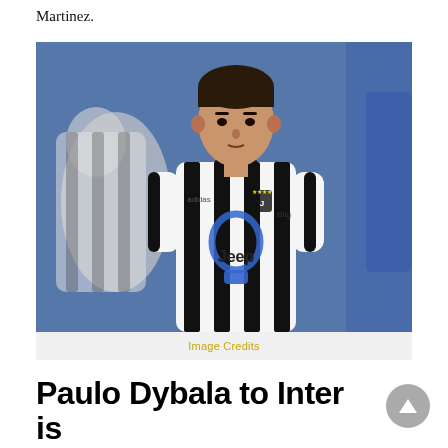Martinez.
[Figure (photo): Paulo Dybala wearing a Juventus black and white striped jersey with Jeep sponsor and adidas branding, with a blue medal/lanyard around his neck, standing on a football pitch. Other players blurred in background.]
Image Credits
Paulo Dybala to Inter is